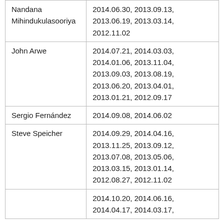| Nandana Mihindukulasooriya | 2014.06.30, 2013.09.13, 2013.06.19, 2013.03.14, 2012.11.02 |
| John Arwe | 2014.07.21, 2014.03.03, 2014.01.06, 2013.11.04, 2013.09.03, 2013.08.19, 2013.06.20, 2013.04.01, 2013.01.21, 2012.09.17 |
| Sergio Fernández | 2014.09.08, 2014.06.02 |
| Steve Speicher | 2014.09.29, 2014.04.16, 2013.11.25, 2013.09.12, 2013.07.08, 2013.05.06, 2013.03.15, 2013.01.14, 2012.08.27, 2012.11.02 |
|  | 2014.10.20, 2014.06.16, 2014.04.17, 2014.03.17, |